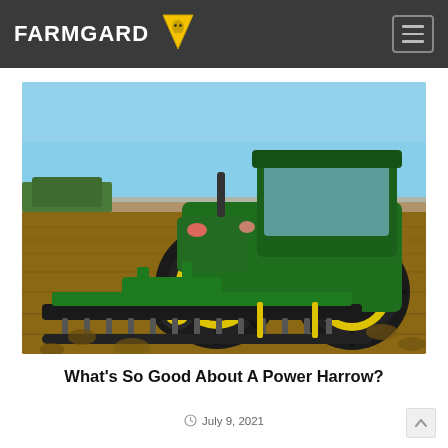FARMGARD
[Figure (photo): A large green John Deere tractor with yellow rims pulling a power harrow implement across a tilled brown soil field. Blue sky with sparse trees in the background.]
What’s So Good About A Power Harrow?
July 9, 2021